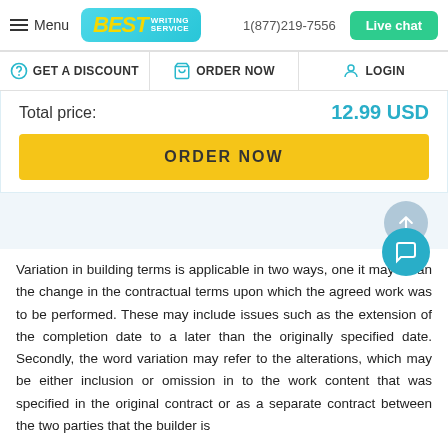Menu | BEST WRITING SERVICE | 1(877)219-7556 | Live chat
GET A DISCOUNT | ORDER NOW | LOGIN
Total price: 12.99 USD
ORDER NOW
Variation in building terms is applicable in two ways, one it may mean the change in the contractual terms upon which the agreed work was to be performed. These may include issues such as the extension of the completion date to a later than the originally specified date. Secondly, the word variation may refer to the alterations, which may be either inclusion or omission in to the work content that was specified in the original contract or as a separate contract between the two parties that the builder is